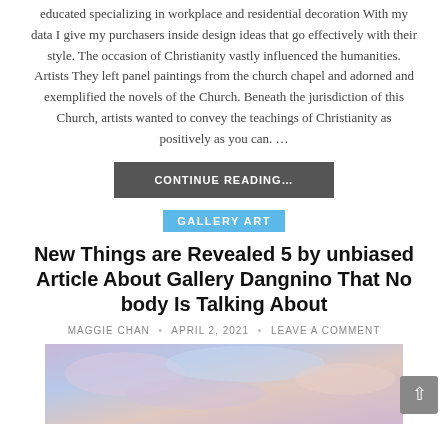educated specializing in workplace and residential decoration With my data I give my purchasers inside design ideas that go effectively with their style. The occasion of Christianity vastly influenced the humanities. Artists They left panel paintings from the church chapel and adorned and exemplified the novels of the Church. Beneath the jurisdiction of this Church, artists wanted to convey the teachings of Christianity as positively as you can. …
CONTINUE READING…
GALLERY ART
New Things are Revealed 5 by unbiased Article About Gallery Dangnino That No body Is Talking About
MAGGIE CHAN • APRIL 2, 2021 • LEAVE A COMMENT
[Figure (photo): An impressionistic painting with soft purple, blue and pink tones suggesting a sky or landscape scene.]